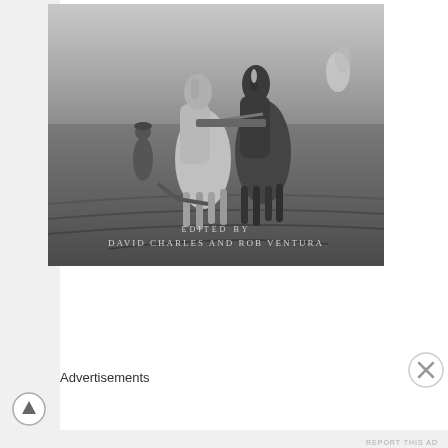[Figure (illustration): Black and white illustration of a farmer plowing a field with two draft horses. Text overlay reads 'EDITED BY DAVID CHARLES AND ROB VENTURA'.]
BOOK REVIEW
Advertisements